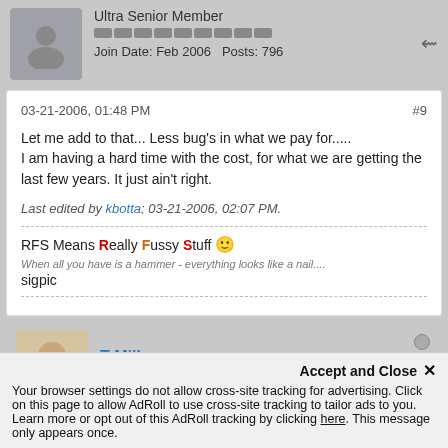Ultra Senior Member
Join Date: Feb 2006   Posts: 796
03-21-2006, 01:48 PM   #9
Let me add to that... Less bug's in what we pay for.....
I am having a hard time with the cost, for what we are getting the last few years. It just ain't right.
Last edited by kbotta; 03-21-2006, 02:07 PM.
RFS Means Really Fussy Stuff 🙂
When all you have is a hammer - everything looks like a nail....
sigpic
T Miller
PC-DMIS demi-Guru
Accept and Close ×
Your browser settings do not allow cross-site tracking for advertising. Click on this page to allow AdRoll to use cross-site tracking to tailor ads to you. Learn more or opt out of this AdRoll tracking by clicking here. This message only appears once.